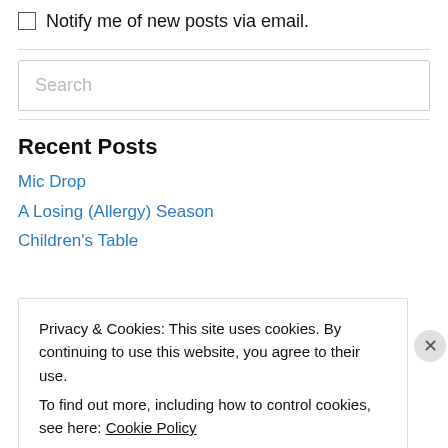Notify me of new posts via email.
Search
Recent Posts
Mic Drop
A Losing (Allergy) Season
Children's Table
Privacy & Cookies: This site uses cookies. By continuing to use this website, you agree to their use.
To find out more, including how to control cookies, see here: Cookie Policy
Close and accept